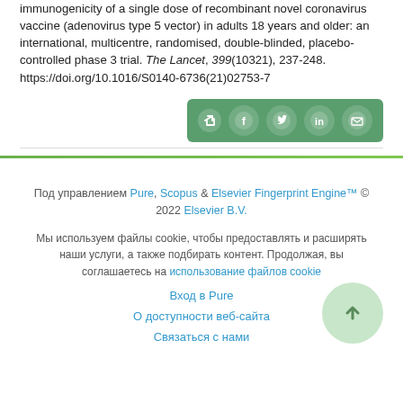immunogenicity of a single dose of recombinant novel coronavirus vaccine (adenovirus type 5 vector) in adults 18 years and older: an international, multicentre, randomised, double-blinded, placebo-controlled phase 3 trial. The Lancet, 399(10321), 237-248. https://doi.org/10.1016/S0140-6736(21)02753-7
[Figure (other): Social share bar with icons for Facebook, Twitter, LinkedIn, and Email on a green background]
Под управлением Pure, Scopus & Elsevier Fingerprint Engine™ © 2022 Elsevier B.V.
Мы используем файлы cookie, чтобы предоставлять и расширять наши услуги, а также подбирать контент. Продолжая, вы соглашаетесь на использование файлов cookie
Вход в Pure
О доступности веб-сайта
Связаться с нами